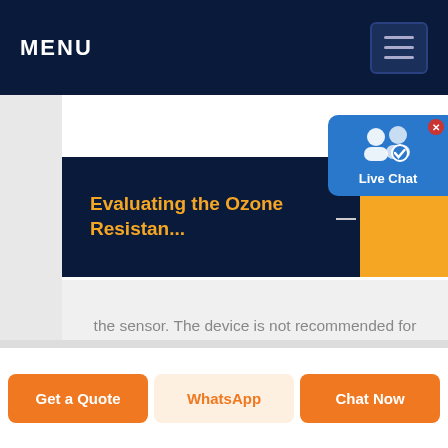MENU
Evaluating the Ozone Resistan...
the sensor. The device is not recommended for outdoor use, ... Susceptibility to Ozone Figure 2. Dyebased cyan ink ozone fading characteristics of Epson (microporous) and HewlettPackard (swellable) glossy photo paper combinations at three different ED ozone concentrations.
Get a Quote | WhatsApp | Chat Now